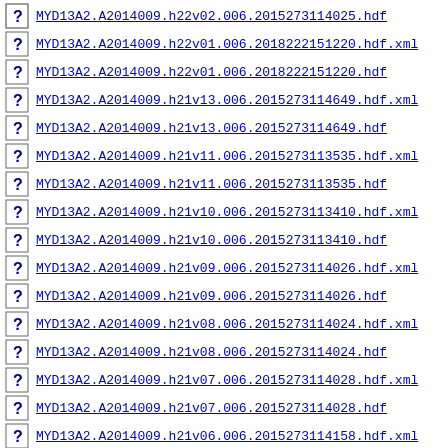MYD13A2.A2014009.h22v02.006.2015273114025.hdf
MYD13A2.A2014009.h22v01.006.2018222151220.hdf.xml
MYD13A2.A2014009.h22v01.006.2018222151220.hdf
MYD13A2.A2014009.h21v13.006.2015273114649.hdf.xml
MYD13A2.A2014009.h21v13.006.2015273114649.hdf
MYD13A2.A2014009.h21v11.006.2015273113535.hdf.xml
MYD13A2.A2014009.h21v11.006.2015273113535.hdf
MYD13A2.A2014009.h21v10.006.2015273113410.hdf.xml
MYD13A2.A2014009.h21v10.006.2015273113410.hdf
MYD13A2.A2014009.h21v09.006.2015273114026.hdf.xml
MYD13A2.A2014009.h21v09.006.2015273114026.hdf
MYD13A2.A2014009.h21v08.006.2015273114024.hdf.xml
MYD13A2.A2014009.h21v08.006.2015273114024.hdf
MYD13A2.A2014009.h21v07.006.2015273114028.hdf.xml
MYD13A2.A2014009.h21v07.006.2015273114028.hdf
MYD13A2.A2014009.h21v06.006.2015273114158.hdf.xml
MYD13A2.A2014009.h21v06.006.2015273114158.hdf
MYD13A2.A2014009.h21v05.006.2015273114954.hdf.xml